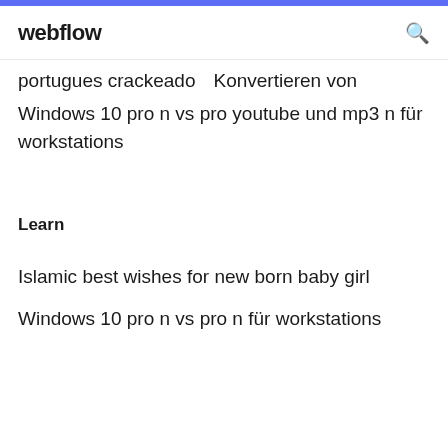webflow
portugues crackeado   Konvertieren von
Windows 10 pro n vs pro youtube und mp3 n für workstations
Learn
Islamic best wishes for new born baby girl
Windows 10 pro n vs pro n für workstations